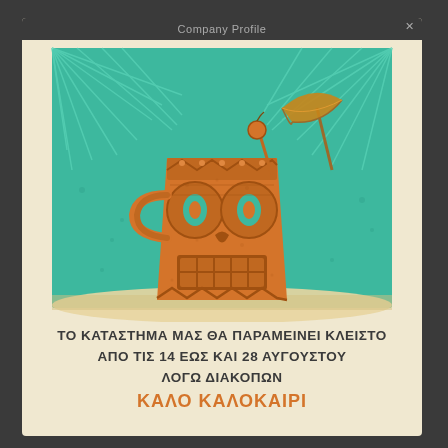Company Profile
[Figure (illustration): Tiki mask illustration in orange on teal background with palm fronds and a beach umbrella, vintage woodcut/linocut style]
ΤΟ ΚΑΤΑΣΤΗΜΑ ΜΑΣ ΘΑ ΠΑΡΑΜΕΙΝΕΙ ΚΛΕΙΣΤΟ
ΑΠΟ ΤΙΣ 14 ΕΩΣ ΚΑΙ 28 ΑΥΓΟΥΣΤΟΥ
ΛΟΓΩ ΔΙΑΚΟΠΩΝ
ΚΑΛΟ ΚΑΛΟΚΑΙΡΙ